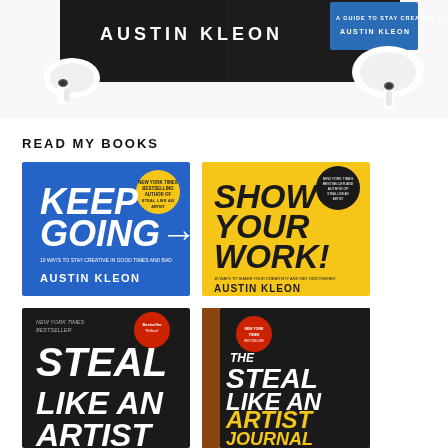[Figure (photo): Top portion of a webpage showing earbuds/AirPods beside book covers with 'AUSTIN KLEON' text on dark background]
READ MY BOOKS
[Figure (photo): Book cover: KEEP GOING by Austin Kleon - blue background with white handwritten text and yellow circle badge]
[Figure (photo): Book cover: SHOW YOUR WORK! by Austin Kleon - yellow background with black handwritten text and dark circle badge]
[Figure (photo): Book cover: STEAL LIKE AN (ARTIST) by Austin Kleon - black background with white handwritten text and red circle badge (partially cut off)]
[Figure (photo): Book cover: THE STEAL LIKE AN ARTIST JOURNAL by Austin Kleon - black cover with yellow text, brown spine, red circle badge]